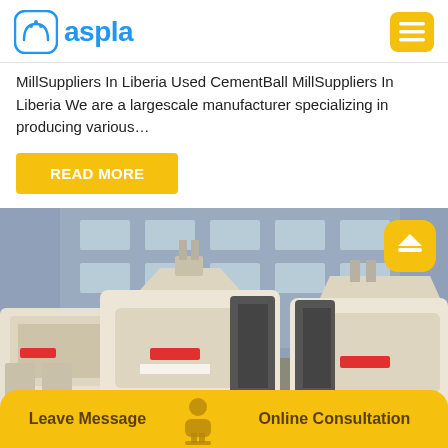aspla
MillSuppliers In Liberia Used CementBall MillSuppliers In Liberia We are a largescale manufacturer specializing in producing various…
READ MORE
[Figure (photo): Industrial impact crusher / hammer mill machines parked outside a factory building. Cream/beige colored heavy machinery with red wheel accents, against a blue-grey industrial building facade.]
Leave Message   Online Consultation